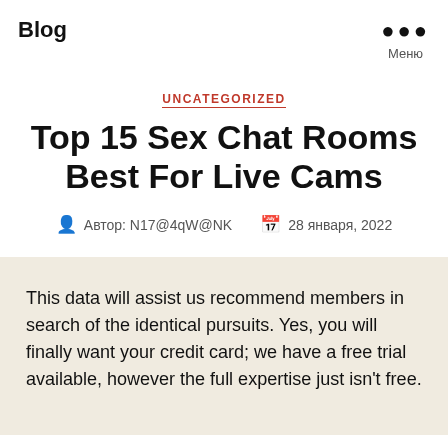Blog
UNCATEGORIZED
Top 15 Sex Chat Rooms Best For Live Cams
Автор: N17@4qW@NK   28 января, 2022
This data will assist us recommend members in search of the identical pursuits. Yes, you will finally want your credit card; we have a free trial available, however the full expertise just isn't free.